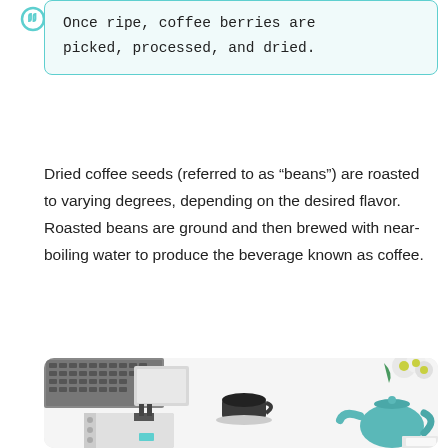Once ripe, coffee berries are picked, processed, and dried.
Dried coffee seeds (referred to as “beans”) are roasted to varying degrees, depending on the desired flavor. Roasted beans are ground and then brewed with near-boiling water to produce the beverage known as coffee.
[Figure (photo): Flat lay photo of a desk with a laptop keyboard, a cup of black coffee, a spiral notebook with a binder clip, white flowers, and a teal teapot on a white background.]